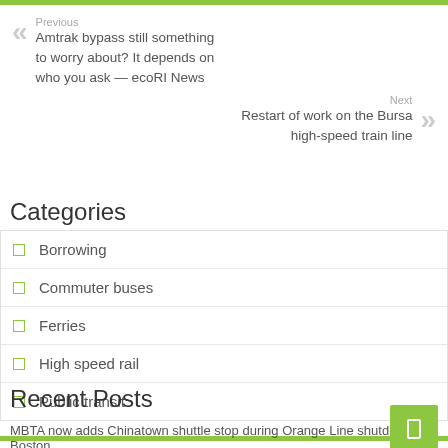Previous
Amtrak bypass still something to worry about? It depends on who you ask — ecoRI News
Next
Restart of work on the Bursa high-speed train line
Categories
Borrowing
Commuter buses
Ferries
High speed rail
Public transit
Recent Posts
MBTA now adds Chinatown shuttle stop during Orange Line shutdown – Boston